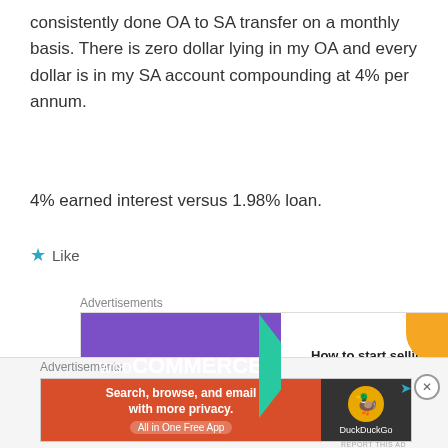consistently done OA to SA transfer on a monthly basis. There is zero dollar lying in my OA and every dollar is in my SA account compounding at 4% per annum.
4% earned interest versus 1.98% loan.
★ Like
[Figure (screenshot): WooCommerce advertisement banner: 'How to start selling subscriptions online']
[Figure (screenshot): DuckDuckGo advertisement: 'Search, browse, and email with more privacy. All in One Free App']